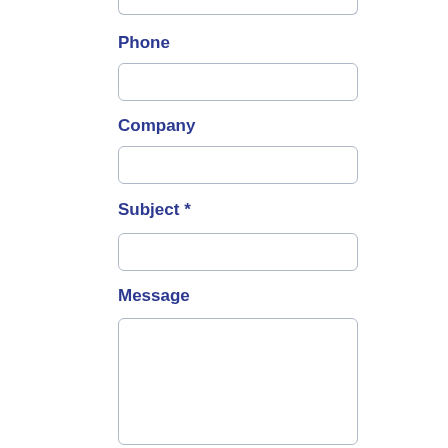[Figure (screenshot): Partial web form showing fields: Phone (text input), Company (text input), Subject (required text input with asterisk), Message (textarea). Labels are bold dark blue. Form fields are white with light gray borders and rounded corners.]
Phone
Company
Subject *
Message